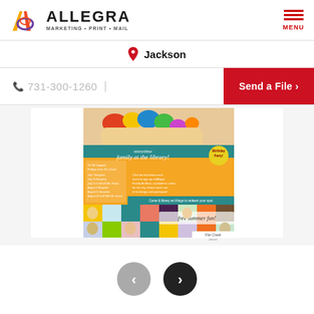[Figure (logo): Allegra Marketing Print Mail logo with stylized A icon in orange/yellow/purple gradient]
MENU
Jackson
731-300-1260
Send a File ›
[Figure (photo): Marketing brochure/flyer for a children's storytime event at a library, featuring colorful paint-covered hands at top, an orange-yellow promotional flyer with 'storytime family at the library!' text, and a colorful photo grid below with children's activities and 'free summer fun!' text, with Flat Creek library branding at bottom]
‹
›